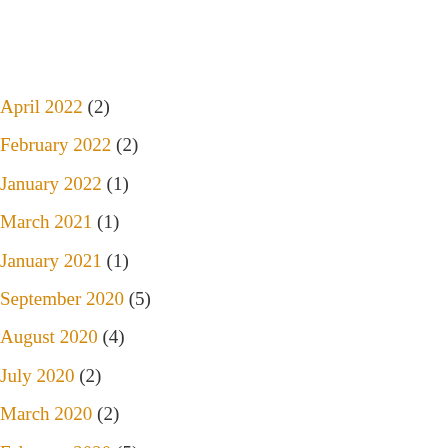April 2022 (2)
February 2022 (2)
January 2022 (1)
March 2021 (1)
January 2021 (1)
September 2020 (5)
August 2020 (4)
July 2020 (2)
March 2020 (2)
February 2020 (5)
January 2020 (2)
May 2019 (4)
December 2018 (1)
September 2018 (2)